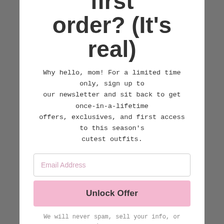40% off your first order? (It's real)
Why hello, mom! For a limited time only, sign up to our newsletter and sit back to get once-in-a-lifetime offers, exclusives, and first access to this season's cutest outfits.
Email Address
Unlock Offer
We will never spam, sell your info, or misuse your email except to bring the greatest deals we offer. That's a promise.